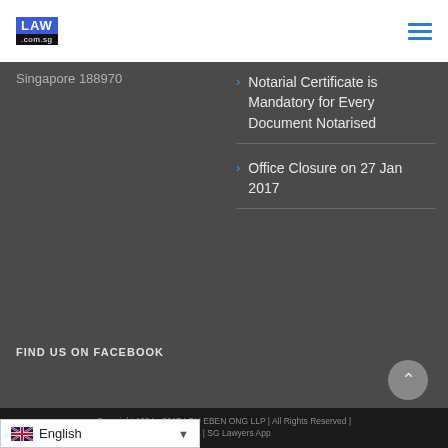[Figure (logo): LAW.com.sg logo with blue and black background blocks]
[Figure (other): Hamburger menu icon with three blue horizontal lines]
Singapore 188970
Notarial Certificate is Mandatory for Every Document Notarised
Office Closure on 27 Jan 2017
FIND US ON FACEBOOK
Copyright 1994 - 2017 LOU EBEN ONG LLP | All Rights Reserved | awSG | SG Lawyers App
[Figure (other): English language selector with UK flag]
[Figure (other): Back to top button with upward chevron]